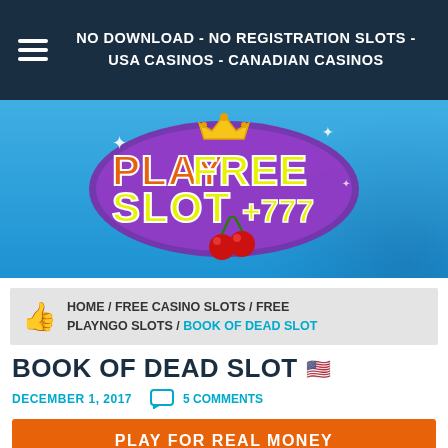NO DOWNLOAD - NO REGISTRATION SLOTS - USA CASINOS - CANADIAN CASINOS
[Figure (logo): PlayFreeSlot 777 logo with crown, cherries, purple and yellow bubble lettering on blue background]
HOME / FREE CASINO SLOTS / FREE PLAYNGO SLOTS / BOOK OF DEAD SLOT
BOOK OF DEAD SLOT
DECEMBER 1, 2017   5 COMMENTS
PLAY FOR REAL MONEY